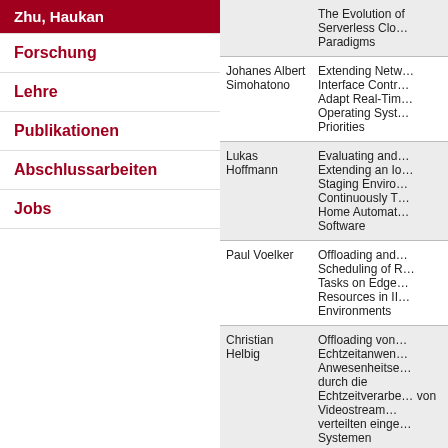Zhu, Haukan
Forschung
Lehre
Publikationen
Abschlussarbeiten
Jobs
| Name | Title |
| --- | --- |
|  | The Evolution of Serverless Cloud Paradigms |
| Johanes Albert Simohatono | Extending Network Interface Controller to Adapt Real-Time Operating System Priorities |
| Lukas Hoffmann | Evaluating and Extending an Iot Staging Environment to Continuously Test Home Automation Software |
| Paul Voelker | Offloading and Scheduling of Real-Time Tasks on Edge Resources in IIoT Environments |
| Christian Helbig | Offloading von Echtzeitanwendungen zur Anwesenheitserkennung durch die Echtzeitverarbeitung von Videostreams auf verteilten eingebetteten Systemen |